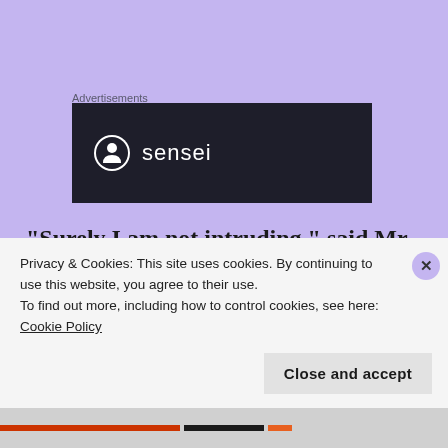Advertisements
[Figure (logo): Sensei logo on dark background: circle icon with tree/person silhouette and the word 'sensei' in white sans-serif text]
“Surely I am not intruding,” said Mr. Pumpernickel, as he towered behind the young girl. “Oh no, sir,” said Lilia, “Not at all. I am just having a bit of a trouble adding up the total cost of what I think I want for a
Privacy & Cookies: This site uses cookies. By continuing to use this website, you agree to their use.
To find out more, including how to control cookies, see here: Cookie Policy